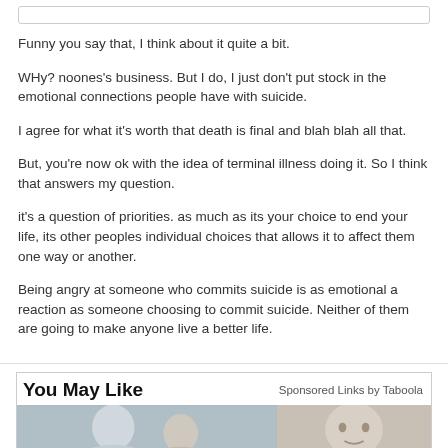Funny you say that, I think about it quite a bit.
WHy? noones's business. But I do, I just don't put stock in the emotional connections people have with suicide.
I agree for what it's worth that death is final and blah blah all that.
But, you're now ok with the idea of terminal illness doing it. So I think that answers my question.
it's a question of priorities. as much as its your choice to end your life, its other peoples individual choices that allows it to affect them one way or another.
Being angry at someone who commits suicide is as emotional a reaction as someone choosing to commit suicide. Neither of them are going to make anyone live a better life.
You May Like
Sponsored Links by Taboola
[Figure (photo): Two partial photos of people's faces in a Taboola sponsored content section]